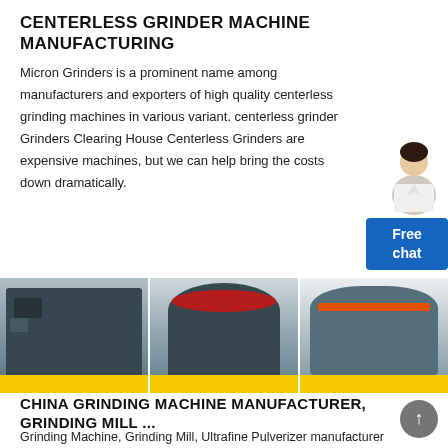CENTERLESS GRINDER MACHINE MANUFACTURING
Micron Grinders is a prominent name among manufacturers and exporters of high quality centerless grinding machines in various variant. centerless grinder Grinders Clearing House Centerless Grinders are expensive machines, but we can help bring the costs down dramatically.
[Figure (photo): Three side-by-side photos of industrial grinding/crushing machines in a factory setting, each with yellow base platforms]
CHINA GRINDING MACHINE MANUFACTURER, GRINDING MILL ...
Grinding Machine, Grinding Mill, Ultrafine Pulverizer manufacturer / supplier in China, offering Superfine Amylum and Starch Powder